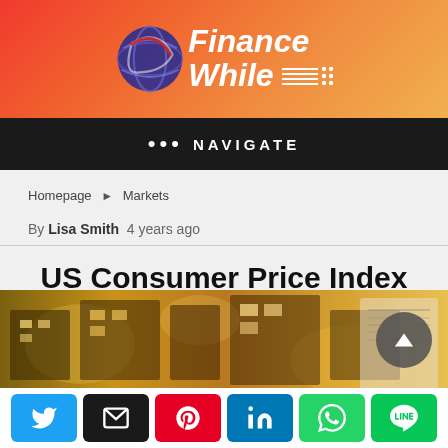Finance While
••• NAVIGATE
Homepage ▶ Markets
By Lisa Smith 4 years ago
US Consumer Price Index Dips First Time in Nine Months
[Figure (photo): Street scene photo with blurred lights and urban environment]
[Figure (infographic): Social share bar with Twitter, Email, Pinterest, LinkedIn, WhatsApp, Line buttons]